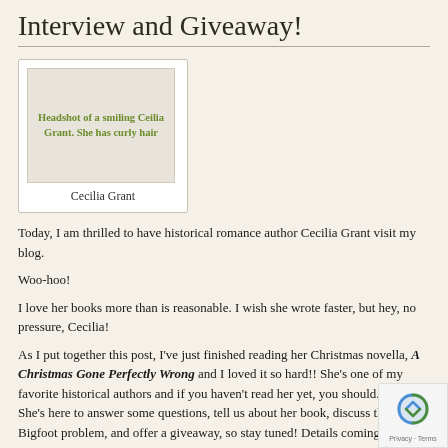Interview and Giveaway!
[Figure (photo): Headshot of a smiling Ceilia Grant. She has curly hair. Caption below reads: Cecilia Grant]
Today, I am thrilled to have historical romance author Cecilia Grant visit my blog.
Woo-hoo!
I love her books more than is reasonable. I wish she wrote faster, but hey, no pressure, Cecilia!
As I put together this post, I've just finished reading her Christmas novella, A Christmas Gone Perfectly Wrong and I loved it so hard!! She's one of my favorite historical authors and if you haven't read her yet, you should. Really. She's here to answer some questions, tell us about her book, discuss the Bigfoot problem, and offer a giveaway, so stay tuned! Details coming.
Cecilia Grant makes her home in the Pacific Northwest. She likes semicolons, chocolate-covered raisins, and historical sites with costumed reenactors. Her books have earned starred reviews from Booklist and Library Journal, Seal of Excellence and Reviewer's Choice awards from RT Reviews